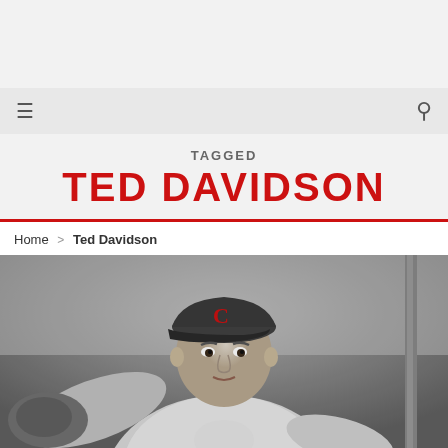TAGGED
TED DAVIDSON
Home > Ted Davidson
[Figure (photo): Black and white photo of baseball pitcher Ted Davidson wearing a Cincinnati Reds cap with C logo, in pitching stance, wearing a white uniform.]